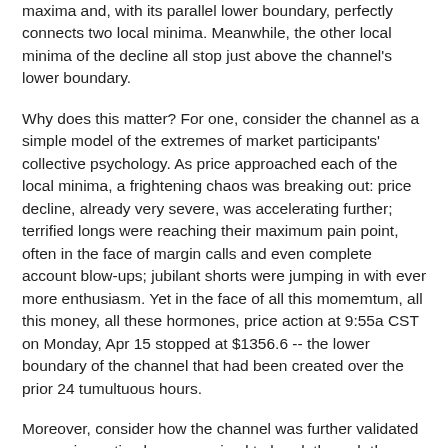maxima and, with its parallel lower boundary, perfectly connects two local minima. Meanwhile, the other local minima of the decline all stop just above the channel's lower boundary.
Why does this matter? For one, consider the channel as a simple model of the extremes of market participants' collective psychology. As price approached each of the local minima, a frightening chaos was breaking out: price decline, already very severe, was accelerating further; terrified longs were reaching their maximum pain point, often in the face of margin calls and even complete account blow-ups; jubilant shorts were jumping in with ever more enthusiasm. Yet in the face of all this momemtum, all this money, all these hormones, price action at 9:55a CST on Monday, Apr 15 stopped at $1356.6 -- the lower boundary of the channel that had been created over the prior 24 tumultuous hours.
Moreover, consider how the channel was further validated once price action became poised to break through the upper boundary, which occurred around 22:00 CST on Monday, Apr 15 and, in the screenshot above, is circled in yellow. Even at